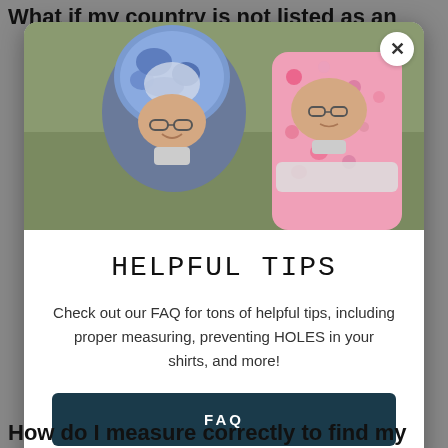What if my country is not listed as an
[Figure (photo): Two children wearing medical cranial orthosis helmets (molded plastic head/neck braces), smiling at the camera. Left child wears a blue patterned helmet, right child wears a pink floral patterned neck/torso brace. Background is a greenish room.]
HELPFUL TIPS
Check out our FAQ for tons of helpful tips, including proper measuring, preventing HOLES in your shirts, and more!
FAQ
How do I measure correctly to find my